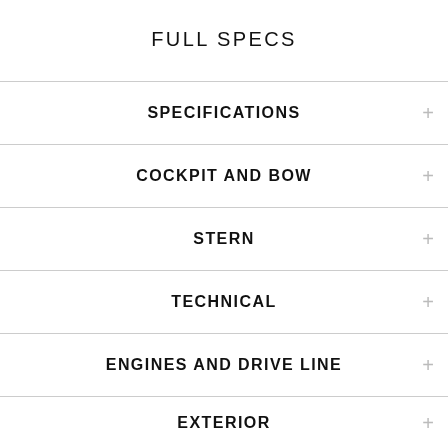FULL SPECS
SPECIFICATIONS
COCKPIT AND BOW
STERN
TECHNICAL
ENGINES AND DRIVE LINE
EXTERIOR